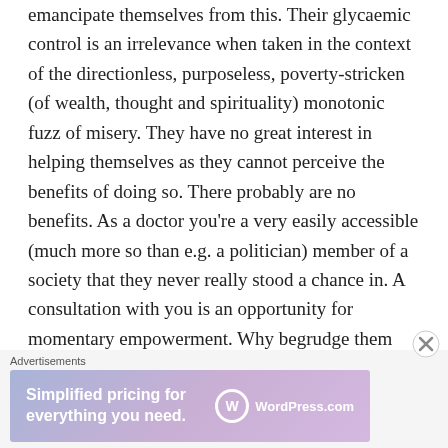emancipate themselves from this. Their glycaemic control is an irrelevance when taken in the context of the directionless, purposeless, poverty-stricken (of wealth, thought and spirituality) monotonic fuzz of misery. They have no great interest in helping themselves as they cannot perceive the benefits of doing so. There probably are no benefits. As a doctor you’re a very easily accessible (much more so than e.g. a politician) member of a society that they never really stood a chance in. A consultation with you is an opportunity for momentary empowerment. Why begrudge them that? And of course you
[Figure (other): WordPress.com advertisement banner: 'Simplified pricing for everything you need.' with WordPress.com logo]